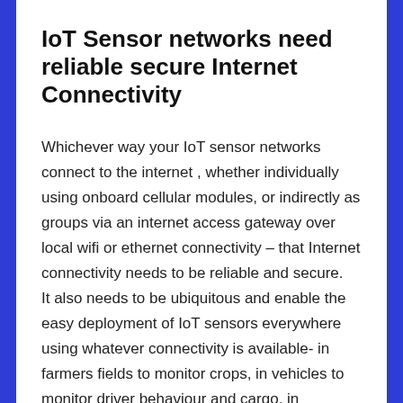IoT Sensor networks need reliable secure Internet Connectivity
Whichever way your IoT sensor networks connect to the internet , whether individually using onboard cellular modules, or indirectly as groups via an internet access gateway over local wifi or ethernet connectivity – that Internet connectivity needs to be reliable and secure. It also needs to be ubiquitous and enable the easy deployment of IoT sensors everywhere using whatever connectivity is available- in farmers fields to monitor crops, in vehicles to monitor driver behaviour and cargo, in buildings and city wide deployments to monitor heating and cooling